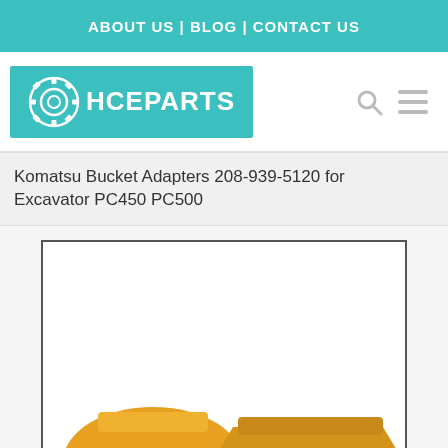ABOUT US | BLOG | CONTACT US
[Figure (logo): HCEPARTS logo with gear icon on teal background]
Komatsu Bucket Adapters 208-939-5120 for Excavator PC450 PC500
[Figure (photo): Partial product photo showing orange/yellow Komatsu bucket adapters]